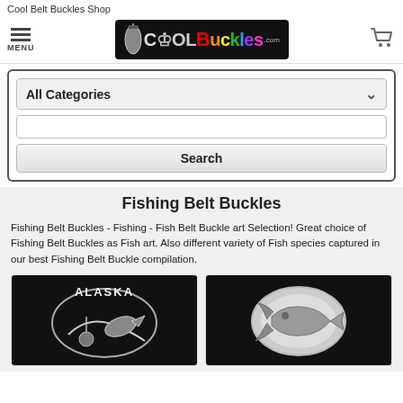Cool Belt Buckles Shop
[Figure (screenshot): CoolBuckles.com logo on dark background with colorful lettering and a belt buckle image]
All Categories (dropdown) Search (input and button)
Fishing Belt Buckles
Fishing Belt Buckles - Fishing - Fish Belt Buckle art Selection! Great choice of Fishing Belt Buckles as Fish art. Also different variety of Fish species captured in our best Fishing Belt Buckle compilation.
[Figure (photo): Alaska fishing belt buckle with fish and fisherman scene on black background]
[Figure (photo): Oval belt buckle with fish design on black background]